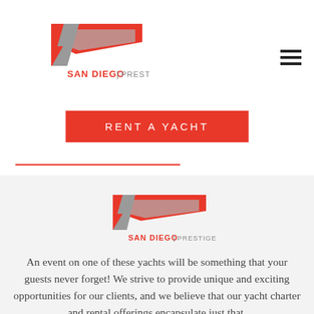[Figure (logo): San Diego Prestige logo — red angular wing/arrow shape above text SAN DIEGO | PRESTIGE in red and gray]
RENT A YACHT
[Figure (logo): San Diego Prestige logo centered — red angular wing/arrow shape above text SAN DIEGO | PRESTIGE in red and gray, smaller version]
An event on one of these yachts will be something that your guests never forget! We strive to provide unique and exciting opportunities for our clients, and we believe that our yacht charter and rental offerings encapsulate just that.